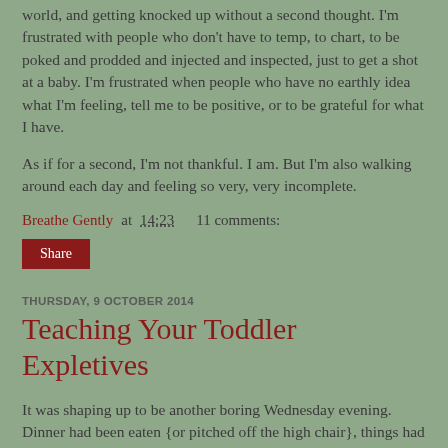world, and getting knocked up without a second thought. I'm frustrated with people who don't have to temp, to chart, to be poked and prodded and injected and inspected, just to get a shot at a baby. I'm frustrated when people who have no earthly idea what I'm feeling, tell me to be positive, or to be grateful for what I have.
As if for a second, I'm not thankful. I am. But I'm also walking around each day and feeling so very, very incomplete.
Breathe Gently at 14:23    11 comments:
Share
THURSDAY, 9 OCTOBER 2014
Teaching Your Toddler Expletives
It was shaping up to be another boring Wednesday evening. Dinner had been eaten {or pitched off the high chair}, things had been tidied up {and thrown back on the floor again} and we were settled in for Georgia's evening viewing of Bubble